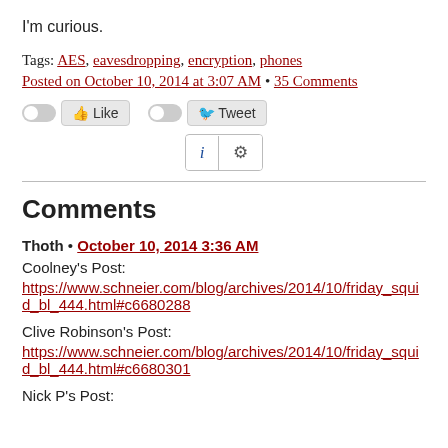I'm curious.
Tags: AES, eavesdropping, encryption, phones
Posted on October 10, 2014 at 3:07 AM • 35 Comments
[Figure (other): Social sharing buttons: Like toggle and Tweet toggle with info and gear icons]
Comments
Thoth • October 10, 2014 3:36 AM
Coolney's Post:
https://www.schneier.com/blog/archives/2014/10/friday_squid_bl_444.html#c6680288
Clive Robinson's Post:
https://www.schneier.com/blog/archives/2014/10/friday_squid_bl_444.html#c6680301
Nick P's Post: